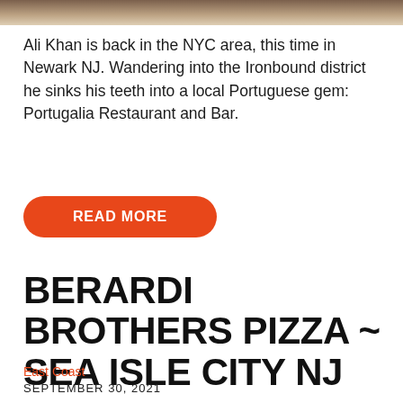[Figure (photo): Partial top strip of a restaurant photo]
Ali Khan is back in the NYC area, this time in Newark NJ. Wandering into the Ironbound district he sinks his teeth into a local Portuguese gem: Portugalia Restaurant and Bar.
READ MORE
BERARDI BROTHERS PIZZA ~ SEA ISLE CITY NJ
East Coast
SEPTEMBER 30, 2021